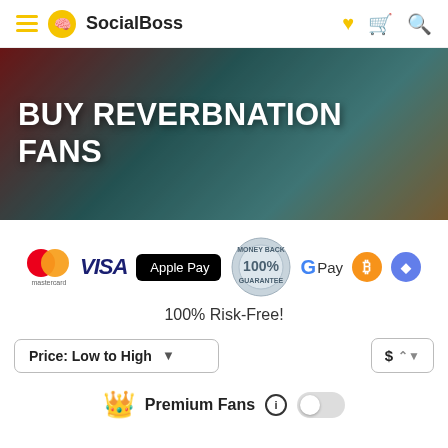SocialBoss navigation bar
BUY REVERBNATION FANS
[Figure (infographic): Payment method icons: Mastercard, VISA, Apple Pay, 100% Money Back Guarantee badge, G Pay, Bitcoin, Ethereum]
100% Risk-Free!
Price: Low to High
$ (currency selector)
Premium Fans